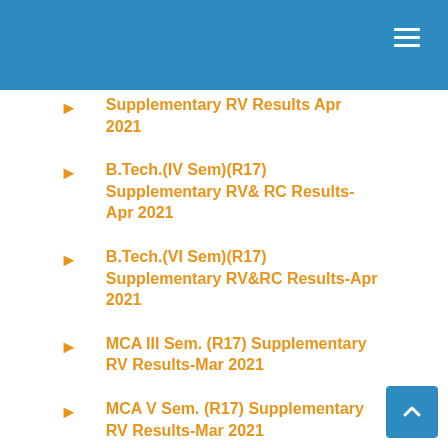Supplementary RV Results Apr 2021
B.Tech.(IV Sem)(R17) Supplementary RV& RC Results-Apr 2021
B.Tech.(VI Sem)(R17) Supplementary RV&RC Results-Apr 2021
MCA III Sem. (R17) Supplementary RV Results-Mar 2021
MCA V Sem. (R17) Supplementary RV Results-Mar 2021